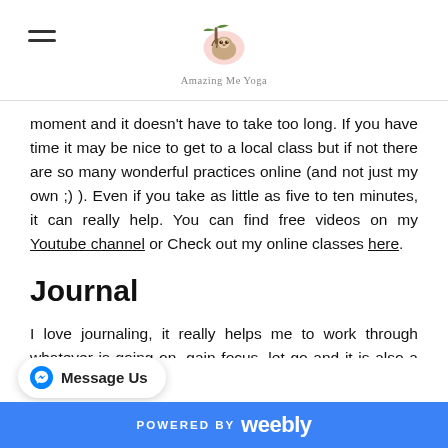Amazing Me Yoga
moment and it doesn't have to take too long. If you have time it may be nice to get to a local class but if not there are so many wonderful practices online (and not just my own ;) ). Even if you take as little as five to ten minutes, it can really help. You can find free videos on my Youtube channel or Check out my online classes here.
Journal
I love journaling, it really helps me to work through whatever is going on, gain focus, let go and it is also a chance to get creative if you bullet journal. I ...ne great journaling prompts for the
POWERED BY weebly